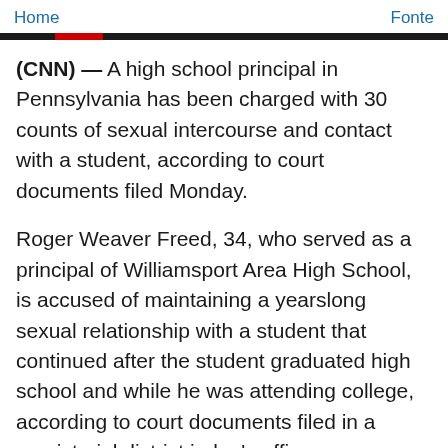Home   Fonte
(CNN) — A high school principal in Pennsylvania has been charged with 30 counts of sexual intercourse and contact with a student, according to court documents filed Monday.
Roger Weaver Freed, 34, who served as a principal of Williamsport Area High School, is accused of maintaining a yearslong sexual relationship with a student that continued after the student graduated high school and while he was attending college, according to court documents filed in a magisterial district judge's office.
Freed is charged with 30 counts of third-degree